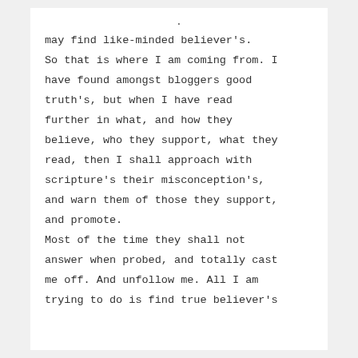may find like-minded believer's. So that is where I am coming from. I have found amongst bloggers good truth's, but when I have read further in what, and how they believe, who they support, what they read, then I shall approach with scripture's their misconception's, and warn them of those they support, and promote.
Most of the time they shall not answer when probed, and totally cast me off. And unfollow me. All I am trying to do is find true believer's